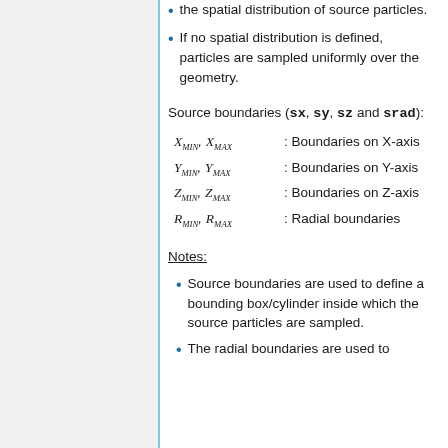the spatial distribution of source particles.
If no spatial distribution is defined, particles are sampled uniformly over the geometry.
Source boundaries (sx, sy, sz and srad):
Notes:
Source boundaries are used to define a bounding box/cylinder inside which the source particles are sampled.
The radial boundaries are used to...